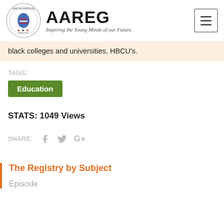AAREG — Inspiring the Young Minds of our Future.
black colleges and universities, HBCU's.
TAGS:
Education
STATS: 1049 Views
SHARE:
The Registry by Subject
Episode